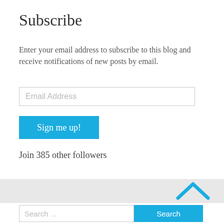Subscribe
Enter your email address to subscribe to this blog and receive notifications of new posts by email.
Email Address
Sign me up!
Join 385 other followers
Search ...
Search